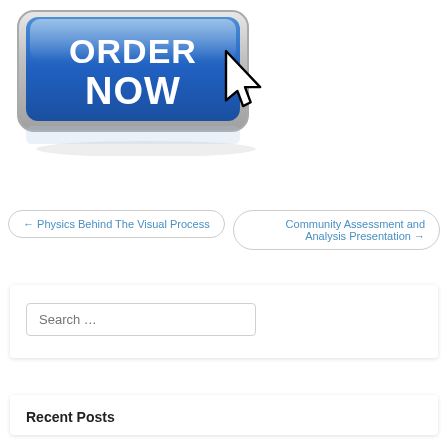[Figure (illustration): A blue 3D button labeled ORDER NOW with a cursor/hand pointer icon clicking it, on a white background with a subtle reflection.]
← Physics Behind The Visual Process
Community Assessment and Analysis Presentation →
Search …
Recent Posts